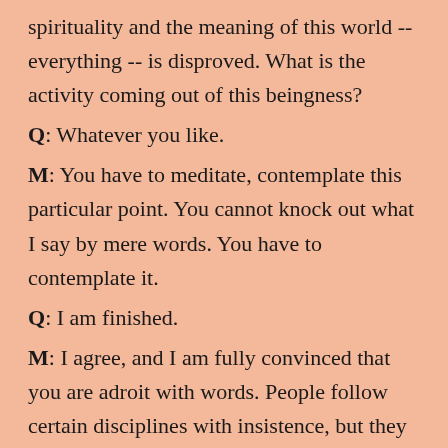spirituality and the meaning of this world -- everything -- is disproved. What is the activity coming out of this beingness?
Q: Whatever you like.
M: You have to meditate, contemplate this particular point. You cannot knock out what I say by mere words. You have to contemplate it.
Q: I am finished.
M: I agree, and I am fully convinced that you are adroit with words. People follow certain disciplines with insistence, but they don't try to investigate the root cause. If they come face to face with that root they will be stunned into silence.
I am not telling you this to run you down, but I am anxious that you should get the factual knowledge. I have great respect for you.
Q: I came for what I have.